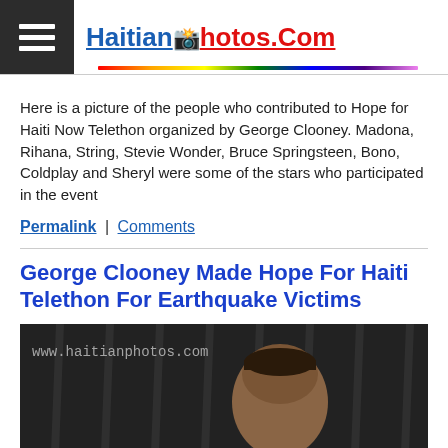HaitianPhotos.Com
Here is a picture of the people who contributed to Hope for Haiti Now Telethon organized by George Clooney. Madona, Rihana, String, Stevie Wonder, Bruce Springsteen, Bono, Coldplay and Sheryl were some of the stars who participated in the event
Permalink | Comments
George Clooney Made Hope For Haiti Telethon For Earthquake Victims
[Figure (photo): Dark photo showing a person (George Clooney) with watermark text www.haitianphotos.com]